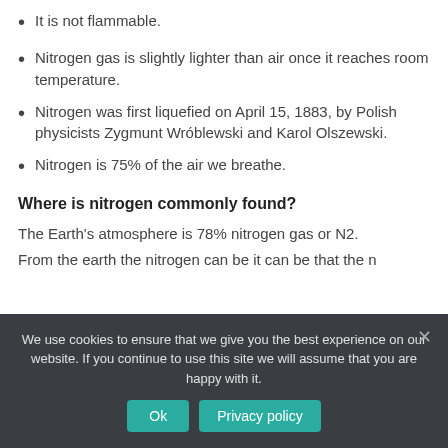It is not flammable.
Nitrogen gas is slightly lighter than air once it reaches room temperature.
Nitrogen was first liquefied on April 15, 1883, by Polish physicists Zygmunt Wróblewski and Karol Olszewski.
Nitrogen is 75% of the air we breathe.
Where is nitrogen commonly found?
The Earth's atmosphere is 78% nitrogen gas or N2.
We use cookies to ensure that we give you the best experience on our website. If you continue to use this site we will assume that you are happy with it.